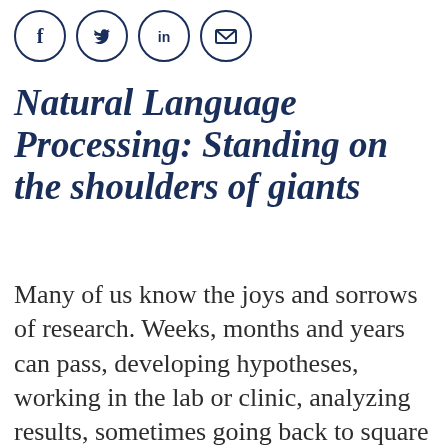[Figure (other): Social media sharing icons in circles: Facebook (f), Twitter (bird), LinkedIn (in), Email (envelope)]
Natural Language Processing: Standing on the shoulders of giants
Many of us know the joys and sorrows of research. Weeks, months and years can pass, developing hypotheses, working in the lab or clinic, analyzing results, sometimes going back to square one, but then writing the paper, and finally, seeing